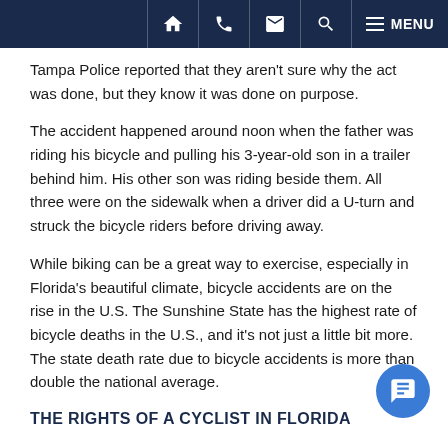Navigation bar with home, phone, email, search, and menu icons
Tampa Police reported that they aren't sure why the act was done, but they know it was done on purpose.
The accident happened around noon when the father was riding his bicycle and pulling his 3-year-old son in a trailer behind him. His other son was riding beside them. All three were on the sidewalk when a driver did a U-turn and struck the bicycle riders before driving away.
While biking can be a great way to exercise, especially in Florida's beautiful climate, bicycle accidents are on the rise in the U.S. The Sunshine State has the highest rate of bicycle deaths in the U.S., and it's not just a little bit more. The state death rate due to bicycle accidents is more than double the national average.
THE RIGHTS OF A CYCLIST IN FLORIDA